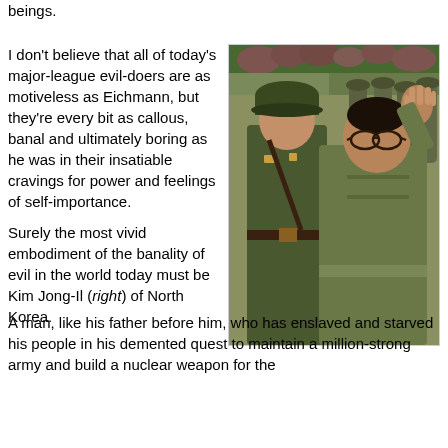beings.
I don't believe that all of today's major-league evil-doers are as motiveless as Eichmann, but they're every bit as callous, banal and ultimately boring as he was in their insatiable cravings for power and feelings of self-importance.
[Figure (photo): Kim Jong-Il in an olive military-style suit waving, accompanied by a military officer in uniform, with soldiers and pink flowers in the background.]
Surely the most vivid embodiment of the banality of evil in the world today must be Kim Jong-Il (right) of North Korea. A man, like his father before him, who has enslaved and starved his people in his demented quest to maintain a million-strong army and build a nuclear weapon for the